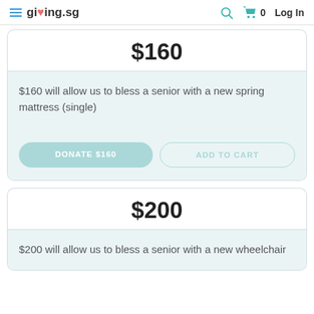giving.sg — Log In
$160
$160 will allow us to bless a senior with a new spring mattress (single)
$200
$200 will allow us to bless a senior with a new wheelchair